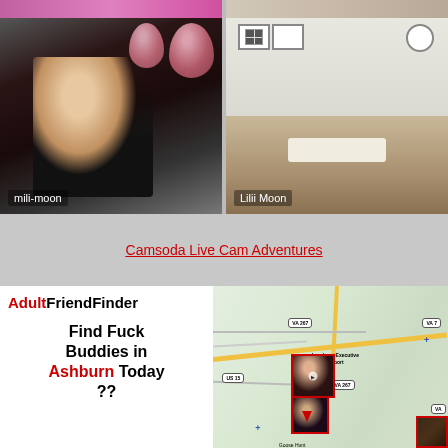[Figure (photo): Top strip showing partial photos of two people/scenes]
[Figure (photo): Webcam screenshot of blonde woman in black outfit with balloons, labeled 'mili-moon']
[Figure (photo): Webcam screenshot of empty bedroom scene, labeled 'Lilii Moon']
Camsoda Live Cam Adventures
[Figure (infographic): AdultFriendFinder advertisement with logo and text: Find Fuck Buddies in Ashburn Today ??]
[Figure (map): Map showing Leesburg Executive Airport area with VA 267, VA 7, US 15 road labels and thumbnail photos of people overlaid]